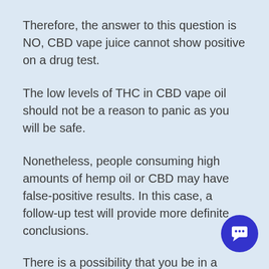Therefore, the answer to this question is NO, CBD vape juice cannot show positive on a drug test.
The low levels of THC in CBD vape oil should not be a reason to panic as you will be safe.
Nonetheless, people consuming high amounts of hemp oil or CBD may have false-positive results. In this case, a follow-up test will provide more definite conclusions.
There is a possibility that you be in a place or environment that exposes you to THC without you being aware. This can arise